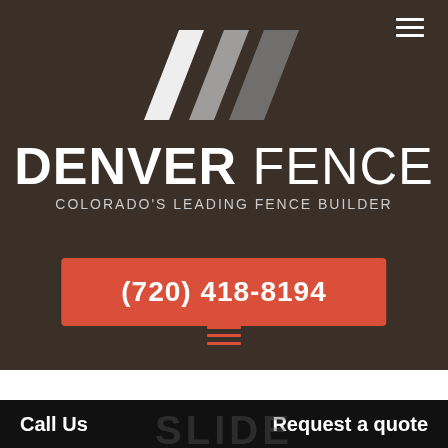[Figure (logo): Denver Fence logo with three diagonal parallelogram stripes in white, light gray, and dark gray on a dark brown background]
DENVER FENCE
COLORADO'S LEADING FENCE BUILDER
(720) 418-8194
Call Us
Request a quote